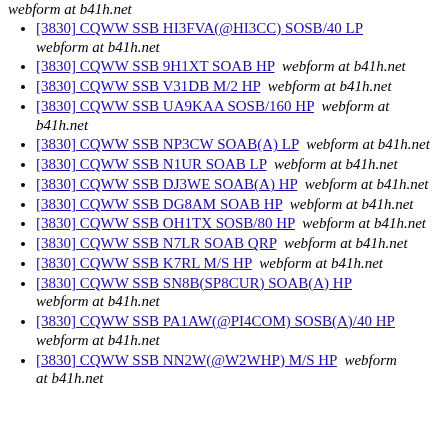webform at b41h.net
[3830] CQWW SSB HI3FVA(@HI3CC) SOSB/40 LP  webform at b41h.net
[3830] CQWW SSB 9H1XT SOAB HP  webform at b41h.net
[3830] CQWW SSB V31DB M/2 HP  webform at b41h.net
[3830] CQWW SSB UA9KAA SOSB/160 HP  webform at b41h.net
[3830] CQWW SSB NP3CW SOAB(A) LP  webform at b41h.net
[3830] CQWW SSB N1UR SOAB LP  webform at b41h.net
[3830] CQWW SSB DJ3WE SOAB(A) HP  webform at b41h.net
[3830] CQWW SSB DG8AM SOAB HP  webform at b41h.net
[3830] CQWW SSB OH1TX SOSB/80 HP  webform at b41h.net
[3830] CQWW SSB N7LR SOAB QRP  webform at b41h.net
[3830] CQWW SSB K7RL M/S HP  webform at b41h.net
[3830] CQWW SSB SN8B(SP8CUR) SOAB(A) HP  webform at b41h.net
[3830] CQWW SSB PA1AW(@PI4COM) SOSB(A)/40 HP  webform at b41h.net
[3830] CQWW SSB NN2W(@W2WHP) M/S HP  webform at b41h.net